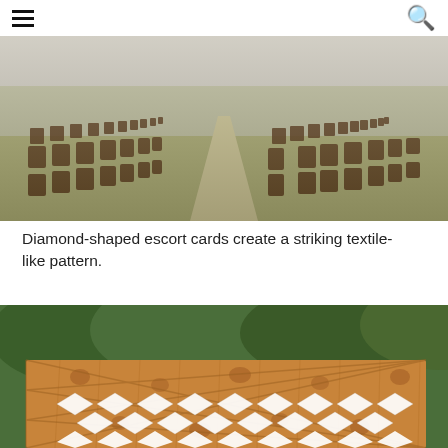Navigation bar with hamburger menu and search icon
[Figure (photo): Outdoor wedding ceremony setup with rows of dark wooden chairs arranged along a grass aisle, stretching into the distance under open sky.]
Diamond-shaped escort cards create a striking textile-like pattern.
[Figure (photo): A wooden lattice panel decorated with white diamond-shaped escort cards arranged in a repeating diagonal grid pattern, set against a backdrop of green trees.]